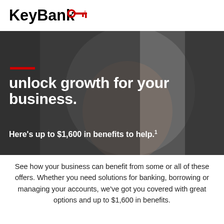[Figure (logo): KeyBank logo with key icon in red and black text]
[Figure (photo): Woman in brown apron smiling, working at a craft/fashion studio with a dress form mannequin in background. Overlay text: unlock growth for your business. Here’s up to $1,600 in benefits to help. with red horizontal bar accent.]
See how your business can benefit from some or all of these offers. Whether you need solutions for banking, borrowing or managing your accounts, we’ve got you covered with great options and up to $1,600 in benefits.